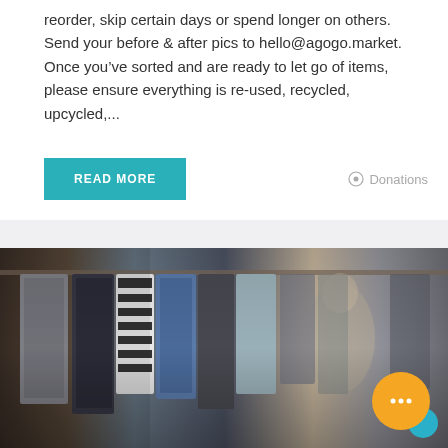reorder, skip certain days or spend longer on others. Send your before & after pics to hello@agogo.market. Once you've sorted and are ready to let go of items, please ensure everything is re-used, recycled, upcycled,...
READ MORE
Donations
[Figure (photo): Photo of clothing hanging on a rack, showing various garments including striped and plain items in dark and muted tones. A blurred figure is visible in the background. An orange chat button with ellipsis icon is overlaid in the bottom right corner, with a teal circle partially visible.]